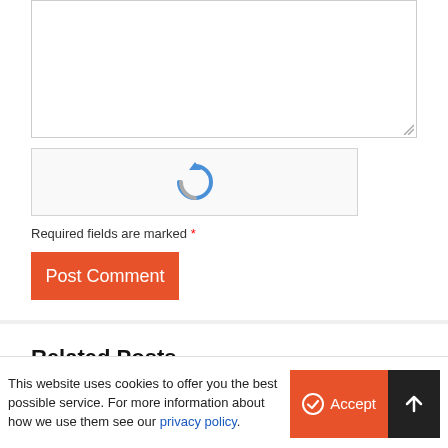[Figure (other): Text area input box (empty, with resize handle at bottom right)]
[Figure (other): reCAPTCHA widget box with rotating arrow icon on grey background]
Required fields are marked *
[Figure (other): Orange 'Post Comment' button]
Related Posts
[Figure (logo): IDTechEx logo with blue underline]
Stretchable hydrogels for high resolution multimaterial 3D printing
This website uses cookies to offer you the best possible service. For more information about how we use them see our privacy policy.